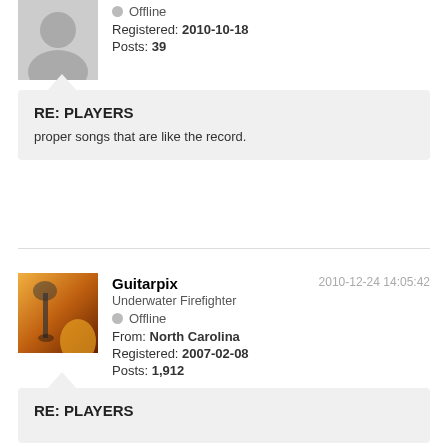Offline
Registered: 2010-10-18
Posts: 39
RE: PLAYERS
proper songs that are like the record.
2010-12-24 14:05:42
Guitarpix
Underwater Firefighter
Offline
From: North Carolina
Registered: 2007-02-08
Posts: 1,912
RE: PLAYERS